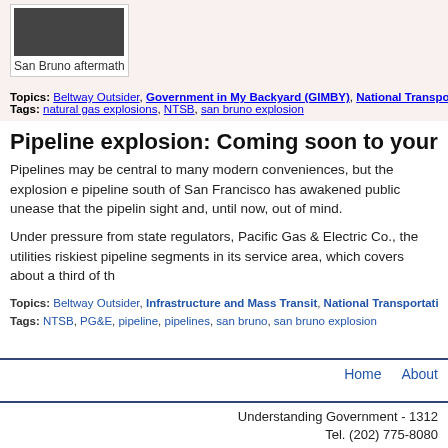[Figure (photo): Photo of San Bruno aftermath - construction/destruction scene]
San Bruno aftermath
Topics: Beltway Outsider, Government in My Backyard (GIMBY), National Transportation Saf...
Tags: natural gas explosions, NTSB, san bruno explosion
Pipeline explosion: Coming soon to your neighborh...
Pipelines may be central to many modern conveniences, but the explosion e... pipeline south of San Francisco has awakened public unease that the pipelin... sight and, until now, out of mind.
Under pressure from state regulators, Pacific Gas & Electric Co., the utilities... riskiest pipeline segments in its service area, which covers about a third of th...
Topics: Beltway Outsider, Infrastructure and Mass Transit, National Transportation Safety Bo...
Tags: NTSB, PG&E, pipeline, pipelines, san bruno, san bruno explosion
Home   About
Understanding Government - 1312
Tel. (202) 775-8080